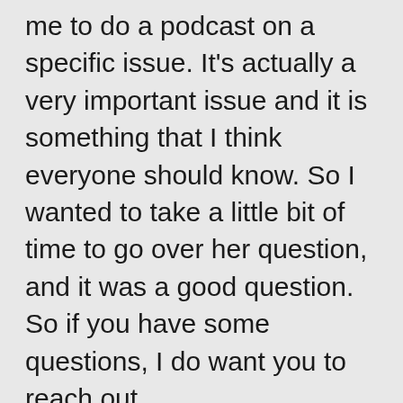me to do a podcast on a specific issue. It's actually a very important issue and it is something that I think everyone should know. So I wanted to take a little bit of time to go over her question, and it was a good question. So if you have some questions, I do want you to reach out.